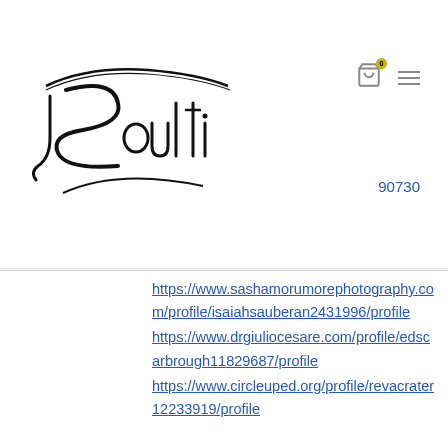[Figure (logo): Soulti brand logo with stylized script lettering and decorative swoosh]
90730
https://www.sashamorumorephotography.com/profile/isaiahsauberan2431996/profile https://www.drgiuliocesare.com/profile/edscarbrough11829687/profile https://www.circleuped.org/profile/revacrater12233919/profile
Contact
FAQ
Sizing
Stockists
[Figure (logo): Circular blurred logo/badge in footer center]
Join the movement of womens rights and cleaner oceans